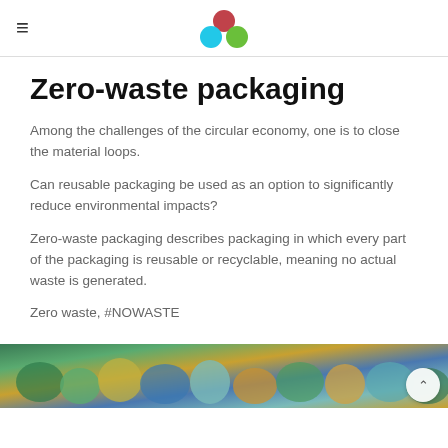≡ [logo: three circles — red, cyan, green]
Zero-waste packaging
Among the challenges of the circular economy, one is to close the material loops.
Can reusable packaging be used as an option to significantly reduce environmental impacts?
Zero-waste packaging describes packaging in which every part of the packaging is reusable or recyclable, meaning no actual waste is generated.
Zero waste, #NOWASTE
[Figure (photo): Photo of colorful reusable bags and packaging items in teal, yellow, and green tones]